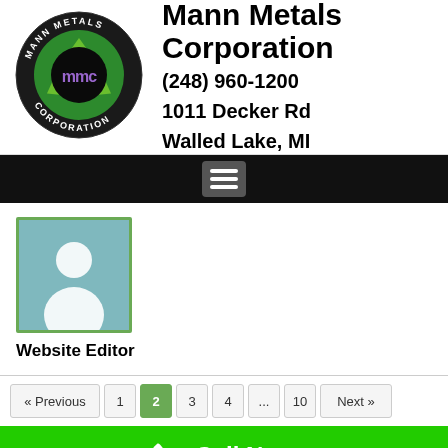[Figure (logo): Mann Metals Corporation circular logo with green recycling arrows and 'mmc' text]
Mann Metals Corporation
(248) 960-1200
1011 Decker Rd
Walled Lake, MI
[Figure (screenshot): Hamburger menu navigation button on dark bar]
[Figure (photo): Default user avatar/profile placeholder image]
Website Editor
« Previous  1  2  3  4  ...  10  Next »